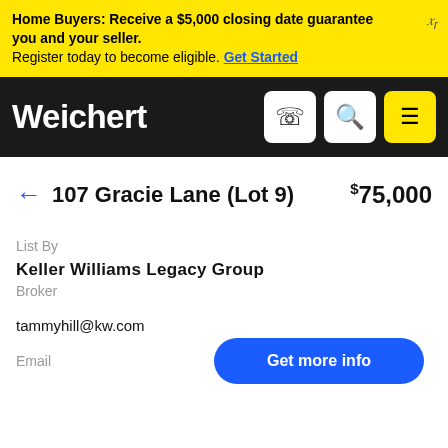Home Buyers: Receive a $5,000 closing date guarantee for you and your seller. Register today to become eligible. Get Started
Weichert
← 107 Gracie Lane (Lot 9)   $75,000
List By
Keller Williams Legacy Group
Broker
tammyhill@kw.com
Email
Get more info